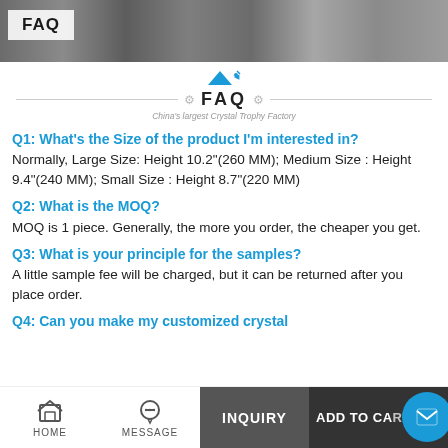[Figure (photo): FAQ banner header with photos of people at an event, and a 'FAQ' label overlay on the left side.]
[Figure (logo): FAQ logo section with decorative triangle icon, horizontal lines with gear icons, 'FAQ' text in bold, and subtitle 'China's largest Crystal Trophy Factory']
Q1: What's the Size of the product I'm interested in?
Normally, Large Size: Height 10.2"(260 MM); Medium Size : Height 9.4"(240 MM); Small Size : Height 8.7"(220 MM)
Q2: What is the MOQ?
MOQ is 1 piece. Generally, the more you order, the cheaper you get.
Q3: What is your principle for the samples?
A little sample fee will be charged, but it can be returned after you place order.
Q4: Can you make my customized crystal
HOME   MESSAGE   INQUIRY   ADD TO CART